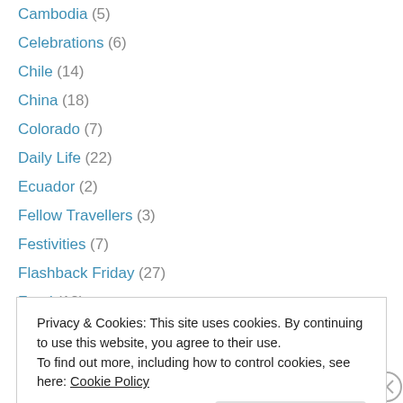Cambodia (5)
Celebrations (6)
Chile (14)
China (18)
Colorado (7)
Daily Life (22)
Ecuador (2)
Fellow Travellers (3)
Festivities (7)
Flashback Friday (27)
Food (18)
Frustrations (4)
Gear (6)
Privacy & Cookies: This site uses cookies. By continuing to use this website, you agree to their use. To find out more, including how to control cookies, see here: Cookie Policy
Jordan (1)